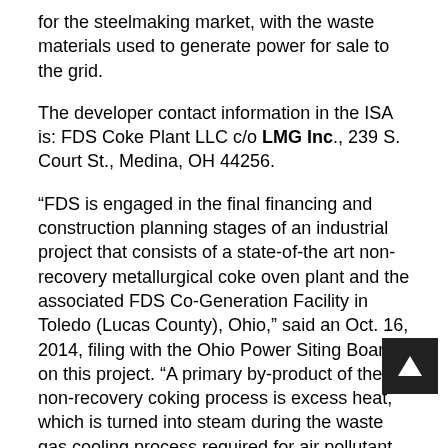for the steelmaking market, with the waste materials used to generate power for sale to the grid.
The developer contact information in the ISA is: FDS Coke Plant LLC c/o LMG Inc., 239 S. Court St., Medina, OH 44256.
“FDS is engaged in the final financing and construction planning stages of an industrial project that consists of a state-of-the art non-recovery metallurgical coke oven plant and the associated FDS Co-Generation Facility in Toledo (Lucas County), Ohio,” said an Oct. 16, 2014, filing with the Ohio Power Siting Board on this project. “A primary by-product of the non-recovery coking process is excess heat, which is turned into steam during the waste gas cooling process required for air pollutant control. Steam from the non-recovery coke oven plant waste cooling process will be condensed and used by the Co-Generation Facility to generate ‘zero emission’